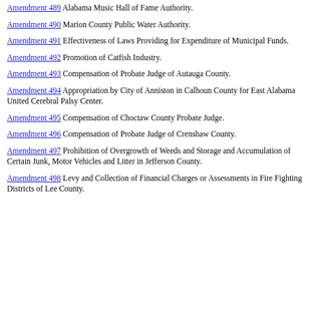Amendment 489 Alabama Music Hall of Fame Authority.
Amendment 490 Marion County Public Water Authority.
Amendment 491 Effectiveness of Laws Providing for Expenditure of Municipal Funds.
Amendment 492 Promotion of Catfish Industry.
Amendment 493 Compensation of Probate Judge of Autauga County.
Amendment 494 Appropriation by City of Anniston in Calhoun County for East Alabama United Cerebral Palsy Center.
Amendment 495 Compensation of Choctaw County Probate Judge.
Amendment 496 Compensation of Probate Judge of Crenshaw County.
Amendment 497 Prohibition of Overgrowth of Weeds and Storage and Accumulation of Certain Junk, Motor Vehicles and Litter in Jefferson County.
Amendment 498 Levy and Collection of Financial Charges or Assessments in Fire Fighting Districts of Lee County.